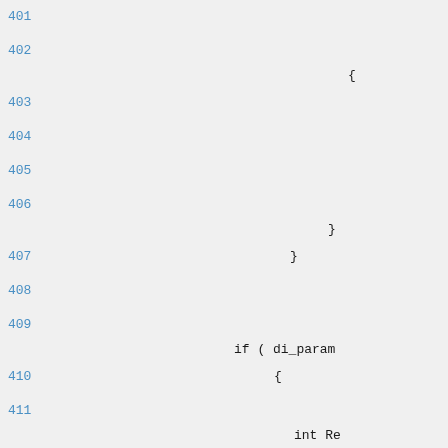401
402
    {
403
404
405
406
    }
407    }
408
409
    if ( di_param
410    {
411
        int Re
412